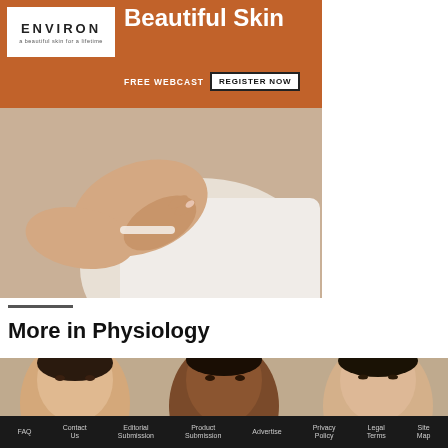[Figure (illustration): ENVIRON skincare brand advertisement banner with orange/brown background. Top left shows ENVIRON logo (white box, 'a beautiful skin for a lifetime' tagline). Top right shows 'Beautiful Skin' headline in white. Below shows 'FREE WEBCAST' text and 'REGISTER NOW' button. Lower portion shows photo of a woman applying cream to her arm.]
More in Physiology
[Figure (photo): Photo of three women with different skin tones posing closely together against a beige background, representing diversity in skin physiology.]
FAQ   Contact Us   Editorial Submission   Product Submission   Advertise   Privacy Policy   Legal Terms   Site Map